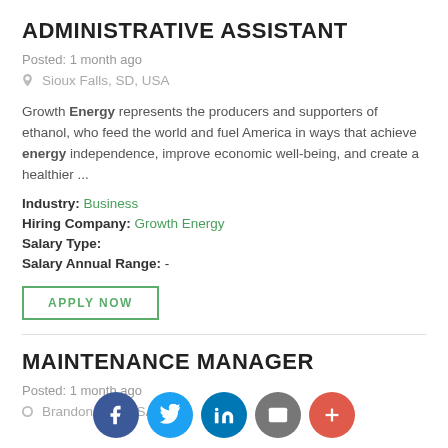ADMINISTRATIVE ASSISTANT
Posted: 1 month ago
Sioux Falls, SD, USA
Growth Energy represents the producers and supporters of ethanol, who feed the world and fuel America in ways that achieve energy independence, improve economic well-being, and create a healthier ...
Industry: Business
Hiring Company: Growth Energy
Salary Type:
Salary Annual Range: -
APPLY NOW
MAINTENANCE MANAGER
Posted: 1 month ago
Brandon, SD, USA